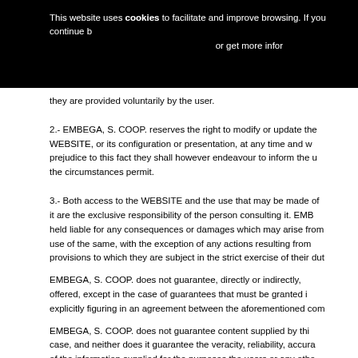This website uses cookies to facilitate and improve browsing. If you continue b... or get more infor...
they are provided voluntarily by the user.
2.- EMBEGA, S. COOP. reserves the right to modify or update the WEBSITE, or its configuration or presentation, at any time and w... prejudice to this fact they shall however endeavour to inform the u... the circumstances permit.
3.- Both access to the WEBSITE and the use that may be made of it are the exclusive responsibility of the person consulting it. EMB... held liable for any consequences or damages which may arise from use of the same, with the exception of any actions resulting from provisions to which they are subject in the strict exercise of their dut...
EMBEGA, S. COOP. does not guarantee, directly or indirectly, offered, except in the case of guarantees that must be granted i... explicitly figuring in an agreement between the aforementioned com...
EMBEGA, S. COOP. does not guarantee content supplied by thi... case, and neither does it guarantee the veracity, reliability, accura... of the information supplied for the purposes the users or any othe... same.